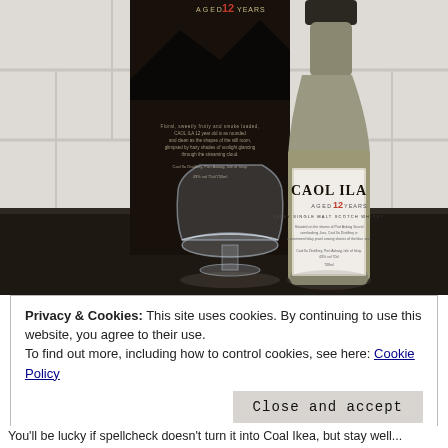[Figure (photo): Photograph of a Caol Ila Aged 12 Years single malt Scotch whisky bottle with its dark box packaging and an empty whisky glass, on a dark counter surface against a white tiled wall background.]
Privacy & Cookies: This site uses cookies. By continuing to use this website, you agree to their use.
To find out more, including how to control cookies, see here: Cookie Policy
Close and accept
You'll be lucky if spellcheck doesn't turn it into Coal Ikea, but stay well...